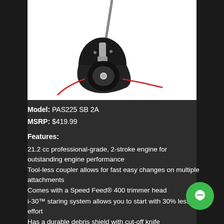[Figure (photo): Product photo of a string trimmer head/attachment with black housing, metal shaft, and red trimmer line visible, on white background]
Model: PAS225 SB 2A
MSRP: $419.99
Features:
21.2 cc professional-grade, 2-stroke engine for outstanding engine performance
Tool-less coupler allows for fast easy changes on multiple attachments
Comes with a Speed Feed® 400 trimmer head
i-30™ staring system allows you to start with 30% less effort
Has a durable debris shield with cut-off knife